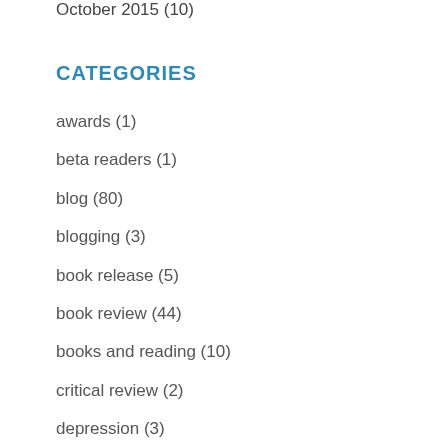October 2015 (10)
CATEGORIES
awards (1)
beta readers (1)
blog (80)
blogging (3)
book release (5)
book review (44)
books and reading (10)
critical review (2)
depression (3)
editing (8)
emotions (5)